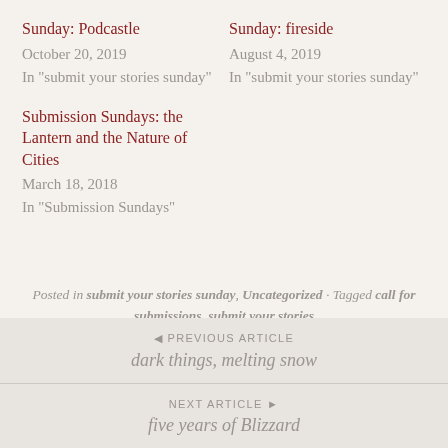Sunday: Podcastle
October 20, 2019
In "submit your stories sunday"
Sunday: fireside
August 4, 2019
In "submit your stories sunday"
Submission Sundays: the Lantern and the Nature of Cities
March 18, 2018
In "Submission Sundays"
Posted in submit your stories sunday, Uncategorized · Tagged call for submissions, submit your stories
◄ PREVIOUS ARTICLE
dark things, melting snow
NEXT ARTICLE ►
five years of Blizzard